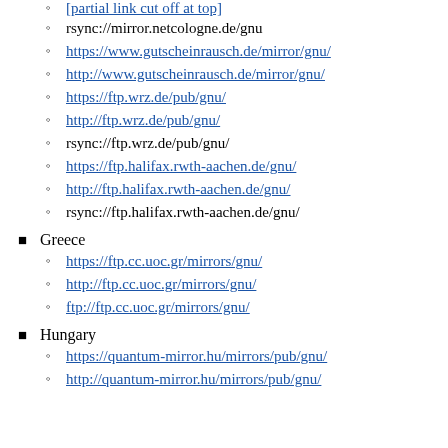rsync://mirror.netcologne.de/gnu
https://www.gutscheinrausch.de/mirror/gnu/
http://www.gutscheinrausch.de/mirror/gnu/
https://ftp.wrz.de/pub/gnu/
http://ftp.wrz.de/pub/gnu/
rsync://ftp.wrz.de/pub/gnu/
https://ftp.halifax.rwth-aachen.de/gnu/
http://ftp.halifax.rwth-aachen.de/gnu/
rsync://ftp.halifax.rwth-aachen.de/gnu/
Greece
https://ftp.cc.uoc.gr/mirrors/gnu/
http://ftp.cc.uoc.gr/mirrors/gnu/
ftp://ftp.cc.uoc.gr/mirrors/gnu/
Hungary
https://quantum-mirror.hu/mirrors/pub/gnu/
http://quantum-mirror.hu/mirrors/pub/gnu/